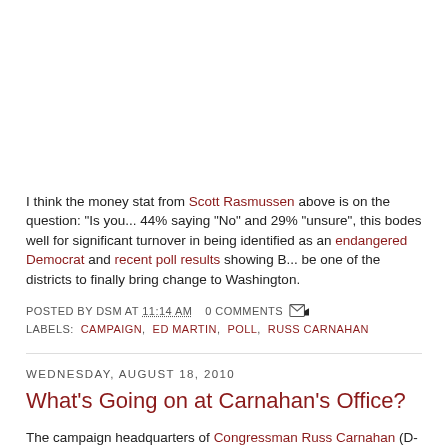I think the money stat from Scott Rasmussen above is on the question: "Is your... 44% saying "No" and 29% "unsure", this bodes well for significant turnover in being identified as an endangered Democrat and recent poll results showing B... be one of the districts to finally bring change to Washington.
POSTED BY DSM AT 11:14 AM  0 COMMENTS
LABELS: CAMPAIGN, ED MARTIN, POLL, RUSS CARNAHAN
WEDNESDAY, AUGUST 18, 2010
What's Going on at Carnahan's Office?
The campaign headquarters of Congressman Russ Carnahan (D-MO) was br...